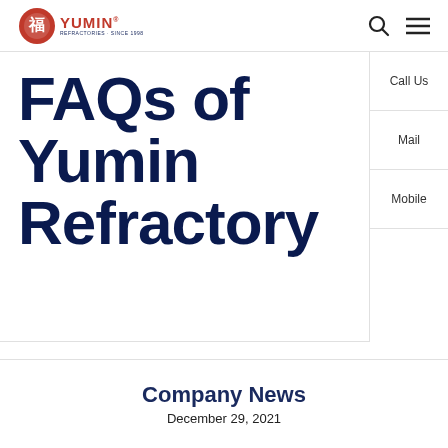Yumin Refractories — site header with logo, search icon, and menu icon
FAQs of Yumin Refractory
Call Us
Mail
Mobile
Company News
December 29, 2021